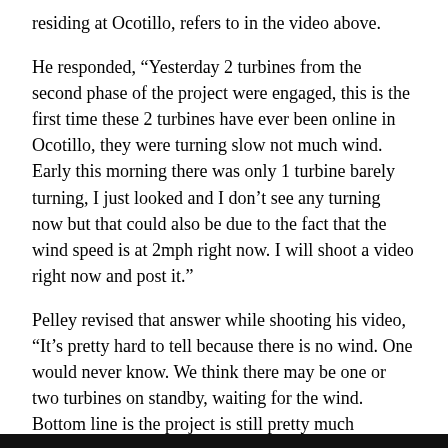residing at Ocotillo, refers to in the video above.
He responded, “Yesterday 2 turbines from the second phase of the project were engaged, this is the first time these 2 turbines have ever been online in Ocotillo, they were turning slow not much wind. Early this morning there was only 1 turbine barely turning, I just looked and I don’t see any turning now but that could also be due to the fact that the wind speed is at 2mph right now. I will shoot a video right now and post it.”
Pelley revised that answer while shooting his video, “It’s pretty hard to tell because there is no wind. One would never know. We think there may be one or two turbines on standby, waiting for the wind. Bottom line is the project is still pretty much offline.”
That was at 8 am. By 11:30 am a 7 mph wind was blowing – and the blades of three turbines were spinning – so Jim made another video.